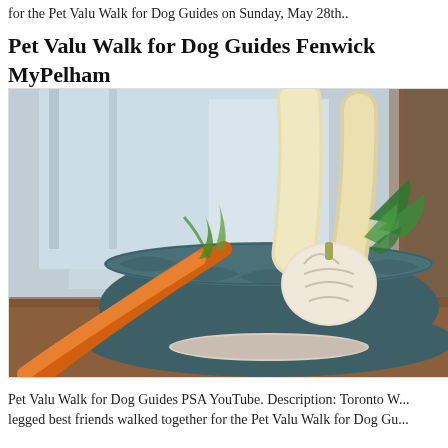for the Pet Valu Walk for Dog Guides on Sunday, May 28th..
Pet Valu Walk for Dog Guides Fenwick MyPelham
[Figure (photo): A dark teal ceramic bowl filled with fresh vegetables including orange carrots, white parsnips, a head of garlic, and green herbs, sitting on a wooden surface. The background is softly blurred showing a window and what appears to be a wooden object on the right.]
Pet Valu Walk for Dog Guides PSA YouTube. Description: Toronto W... legged best friends walked together for the Pet Valu Walk for Dog Gu...